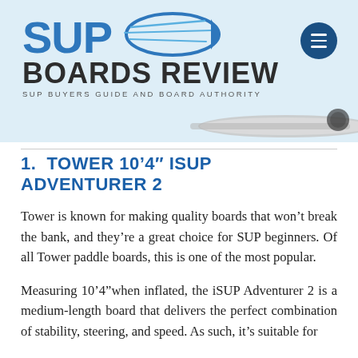[Figure (logo): SUP Boards Review logo with blue SUP text, speed swoosh graphic, dark BOARDS REVIEW text, and tagline SUP BUYERS GUIDE AND BOARD AUTHORITY on light blue background]
[Figure (photo): Partial image of a paddleboard in gray/white, cropped at the header bottom right]
1. TOWER 10'4" iSUP ADVENTURER 2
Tower is known for making quality boards that won't break the bank, and they're a great choice for SUP beginners. Of all Tower paddle boards, this is one of the most popular.
Measuring 10'4"when inflated, the iSUP Adventurer 2 is a medium-length board that delivers the perfect combination of stability, steering, and speed. As such, it's suitable for